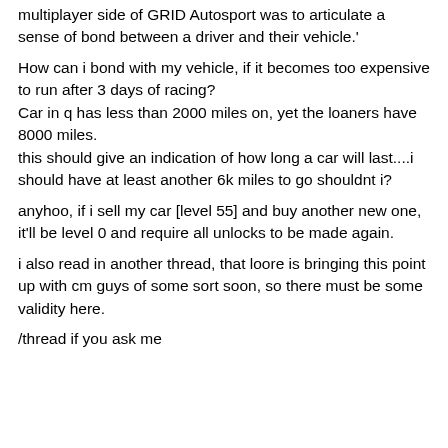multiplayer side of GRID Autosport was to articulate a sense of bond between a driver and their vehicle.'
How can i bond with my vehicle, if it becomes too expensive to run after 3 days of racing?
Car in q has less than 2000 miles on, yet the loaners have 8000 miles.
this should give an indication of how long a car will last....i should have at least another 6k miles to go shouldnt i?
anyhoo, if i sell my car [level 55] and buy another new one, it'll be level 0 and require all unlocks to be made again.
i also read in another thread, that loore is bringing this point up with cm guys of some sort soon, so there must be some validity here.
/thread if you ask me